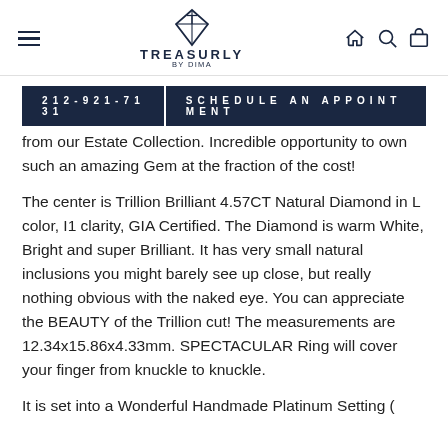TREASURLY BY DIMA
212-921-7131   SCHEDULE AN APPOINTMENT
from our Estate Collection. Incredible opportunity to own such an amazing Gem at the fraction of the cost!
The center is Trillion Brilliant 4.57CT Natural Diamond in L color, I1 clarity, GIA Certified. The Diamond is warm White, Bright and super Brilliant. It has very small natural inclusions you might barely see up close, but really nothing obvious with the naked eye. You can appreciate the BEAUTY of the Trillion cut! The measurements are 12.34x15.86x4.33mm. SPECTACULAR Ring will cover your finger from knuckle to knuckle.
It is set into a Wonderful Handmade Platinum Setting (